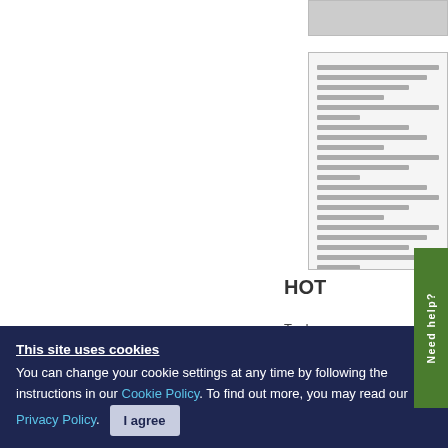[Figure (screenshot): Partial screenshot showing a document thumbnail on the right side of the page with grey horizontal lines simulating document text content]
[Figure (screenshot): Green vertical 'Need help?' tab overlapping the right side content]
HOT
To de
down
cerv
HOTAM
Therefore
This site uses cookies
You can change your cookie settings at any time by following the instructions in our Cookie Policy. To find out more, you may read our Privacy Policy.
I agree